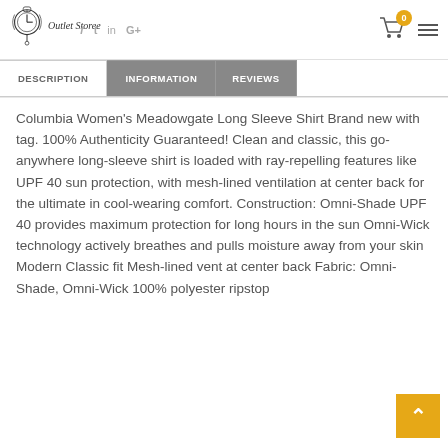Outlet Storee — header with logo, social icons, cart (0), and menu
DESCRIPTION | INFORMATION | REVIEWS
Columbia Women's Meadowgate Long Sleeve Shirt Brand new with tag. 100% Authenticity Guaranteed! Clean and classic, this go-anywhere long-sleeve shirt is loaded with ray-repelling features like UPF 40 sun protection, with mesh-lined ventilation at center back for the ultimate in cool-wearing comfort. Construction: Omni-Shade UPF 40 provides maximum protection for long hours in the sun Omni-Wick technology actively breathes and pulls moisture away from your skin Modern Classic fit Mesh-lined vent at center back Fabric: Omni-Shade, Omni-Wick 100% polyester ripstop